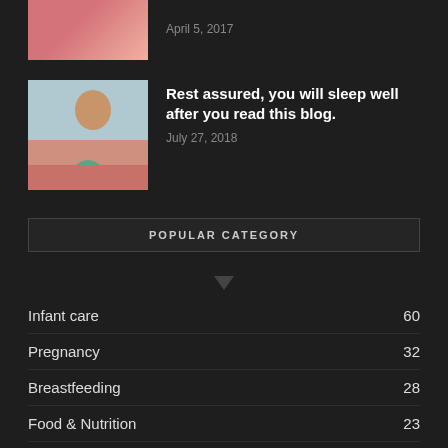April 5, 2017
[Figure (photo): Pregnant woman in pink top, partial/cropped image at top of page]
[Figure (photo): Pregnant woman in teal top doing a side stretch yoga pose on the floor]
Rest assured, you will sleep well after you read this blog.
July 27, 2018
POPULAR CATEGORY
Infant care 60
Pregnancy 32
Breastfeeding 28
Food & Nutrition 23
Zodiac 19
Others 17
Covid 19 12